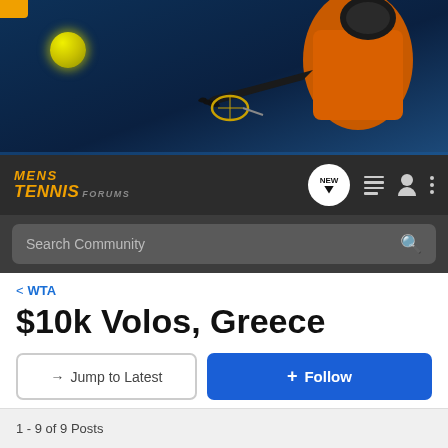[Figure (photo): Banner image of a tennis player in orange shirt reaching for a ball, on a dark blue background, with a yellow tennis ball visible. Mens Tennis Forums website header.]
MENS TENNIS FORUMS
Search Community
< WTA
$10k Volos, Greece
→ Jump to Latest
+ Follow
1 - 9 of 9 Posts
Pironkov · Registered
Joined Jul 21, 2002 · 676 Posts